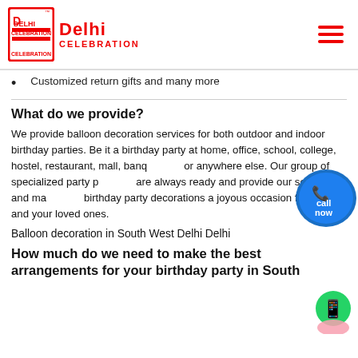Delhi Celebration
Customized return gifts and many more
What do we provide?
We provide balloon decoration services for both outdoor and indoor birthday parties. Be it a birthday party at home, office, school, college, hostel, restaurant, mall, banquet hall or anywhere else. Our group of specialized party planners are always ready and provide our services and make your birthday party decorations a joyous occasion for you and your loved ones.
Balloon decoration in South West Delhi Delhi
How much do we need to make the best arrangements for your birthday party in South